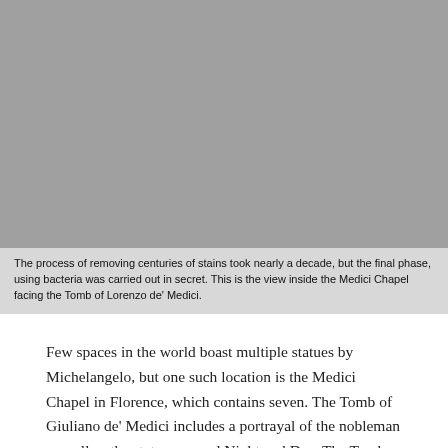[Figure (photo): Gray placeholder representing interior view of the Medici Chapel facing the Tomb of Lorenzo de' Medici]
The process of removing centuries of stains took nearly a decade, but the final phase, using bacteria was carried out in secret. This is the view inside the Medici Chapel facing the Tomb of Lorenzo de' Medici.
Few spaces in the world boast multiple statues by Michelangelo, but one such location is the Medici Chapel in Florence, which contains seven. The Tomb of Giuliano de' Medici includes a portrayal of the nobleman as well as the statues named Night and Day. The Tomb of Lorenzo de' Medici includes statues known as Dawn and Dusk, in addition to a seated Lorenzo. To accompany the tombs, Michelangelo created a seventh statue,